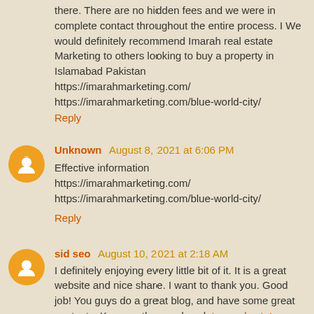there. There are no hidden fees and we were in complete contact throughout the entire process. I We would definitely recommend Imarah real estate Marketing to others looking to buy a property in Islamabad Pakistan https://imarahmarketing.com/ https://imarahmarketing.com/blue-world-city/
Reply
Unknown August 8, 2021 at 6:06 PM
Effective information https://imarahmarketing.com/ https://imarahmarketing.com/blue-world-city/
Reply
sid seo August 10, 2021 at 2:18 AM
I definitely enjoying every little bit of it. It is a great website and nice share. I want to thank you. Good job! You guys do a great blog, and have some great contents. Keep up the good work top real estate instagram accounts